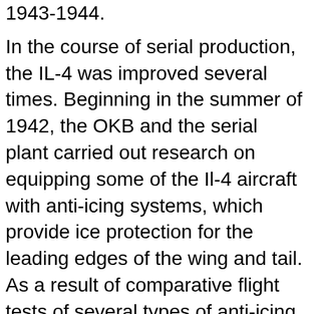1943-1944.
In the course of serial production, the IL-4 was improved several times. Beginning in the summer of 1942, the OKB and the serial plant carried out research on equipping some of the Il-4 aircraft with anti-icing systems, which provide ice protection for the leading edges of the wing and tail. As a result of comparative flight tests of several types of anti-icing agents for aircraft making long-term combat flights deep behind enemy lines and operating in the sharply changing meteorological conditions of the Arctic Circle, an anti-icing system was recommended, which used warm air in the leading edges of the wing and tail, heated by the exhaust gases of the engines in three suspended heat exchangers. Although the outboard heat exchangers of such an anti-icing